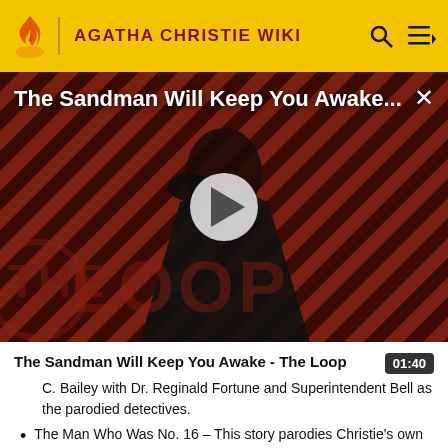AGATHA CHRISTIE WIKI
[Figure (screenshot): Video thumbnail for 'The Sandman Will Keep You Awake...' showing a dark figure in a black cloak against a diagonal stripe background with 'THE LOOP' watermark and a play button overlay.]
The Sandman Will Keep You Awake - The Loop  01:40
C. Bailey with Dr. Reginald Fortune and Superintendent Bell as the parodied detectives.
The Man Who Was No. 16 – This story parodies Christie's own The Big Four, featuring Hercule